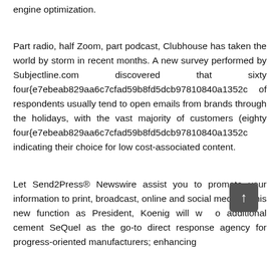engine optimization.
Part radio, half Zoom, part podcast, Clubhouse has taken the world by storm in recent months. A new survey performed by Subjectline.com discovered that sixty four{e7ebeab829aa6c7cfad59b8fd5dcb97810840a1352c of respondents usually tend to open emails from brands through the holidays, with the vast majority of customers (eighty four{e7ebeab829aa6c7cfad59b8fd5dcb97810840a1352c indicating their choice for low cost-associated content.
Let Send2Press® Newswire assist you to promote your information to print, broadcast, online and social media. In his new function as President, Koenig will work to additional cement SeQuel as the go-to direct response agency for progress-oriented manufacturers; enhancing